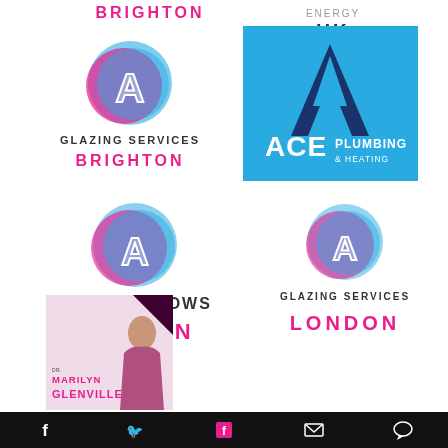[Figure (logo): Glazing Services Brighton logo - partial at top left (pink text BRIGHTON)]
[Figure (logo): Energy UK logo - ENERGY UK text top right]
[Figure (logo): Glazing Services Brighton full logo with oval A icon]
[Figure (logo): ACE Plumbing and Heating logo on blue background]
[Figure (logo): Sash Windows London logo with oval A icon]
[Figure (logo): Glazing Services London logo with oval A icon]
[Figure (photo): Dr Marilyn Glenville photo/logo with pink text on light pink background]